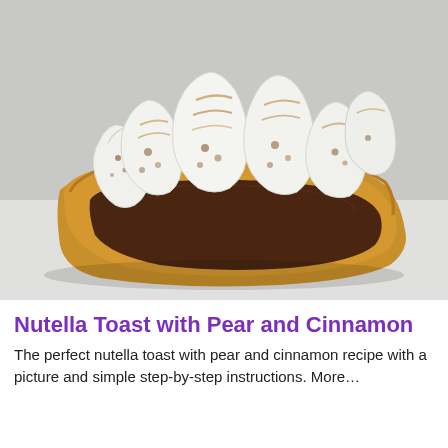[Figure (photo): A piece of toasted white bread spread with Nutella (chocolate hazelnut spread), topped with sliced pear pieces that are lightly grilled/toasted with cinnamon marks, served on a white plate.]
Nutella Toast with Pear and Cinnamon
The perfect nutella toast with pear and cinnamon recipe with a picture and simple step-by-step instructions. More...